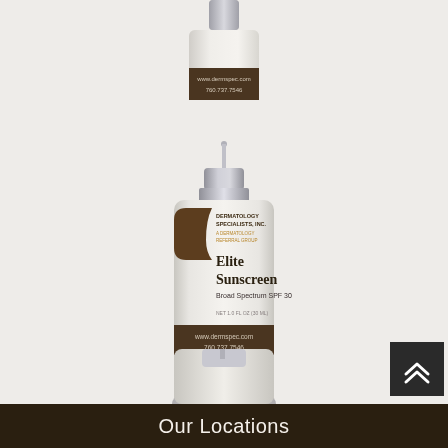[Figure (photo): Partial top view of a white pump bottle of Dermatology Specialists Inc. Elite Sunscreen Broad Spectrum SPF 30, showing the dark brown label band with website www.dermspec.com and phone 760.737.7546, cropped at top of page]
[Figure (photo): Full view of Dermatology Specialists Inc. Elite Sunscreen Broad Spectrum SPF 30 in a white pump dispenser bottle with silver pump top. Label reads: Dermatology Specialists, Inc., A Dermatology Referral Group, Elite Sunscreen, Broad Spectrum SPF 30, NET 1.0 FL OZ (30 ML), www.dermspec.com, 760.737.7546]
[Figure (photo): Partial bottom view of another white pump bottle, cropped at bottom of page]
Our Locations